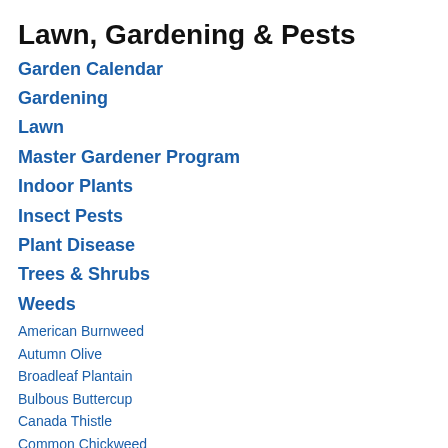Lawn, Gardening & Pests
Garden Calendar
Gardening
Lawn
Master Gardener Program
Indoor Plants
Insect Pests
Plant Disease
Trees & Shrubs
Weeds
American Burnweed
Autumn Olive
Broadleaf Plantain
Bulbous Buttercup
Canada Thistle
Common Chickweed